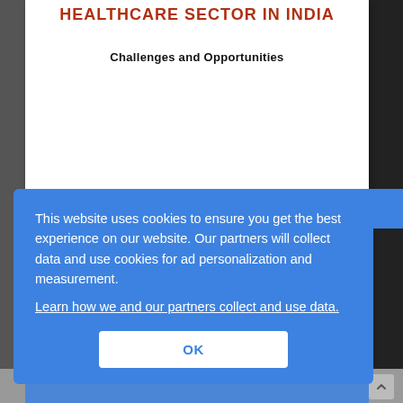HEALTHCARE SECTOR IN INDIA
Challenges and Opportunities
This website uses cookies to ensure you get the best experience on our website. Our partners will collect data and use cookies for ad personalization and measurement.
Learn how we and our partners collect and use data.
OK